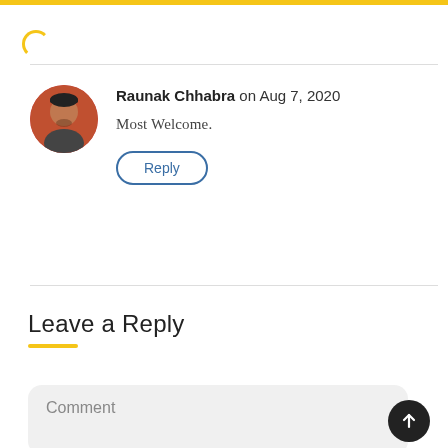[Figure (other): Yellow top bar decoration]
[Figure (other): Yellow loading spinner icon]
Raunak Chhabra on Aug 7, 2020
Most Welcome.
Reply
Leave a Reply
Comment